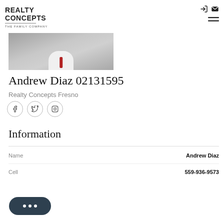REALTY CONCEPTS THE FAMILY COMPANY
[Figure (photo): Partial photo of Andrew Diaz in a suit with white shirt, cropped showing torso area]
Andrew Diaz 02131595
Realty Concepts Fresno
[Figure (infographic): Social media icons: Facebook, Twitter, Instagram in circular outline buttons]
Information
|  |  |
| --- | --- |
| Name | Andrew Diaz |
| Cell | 559-936-9573 |